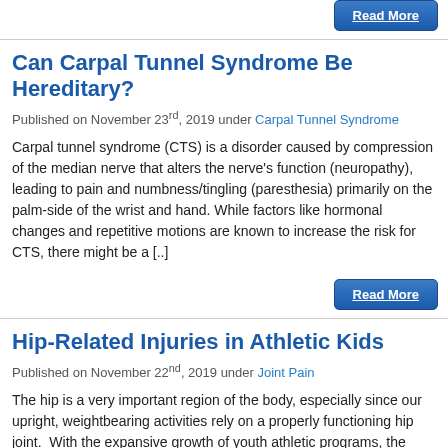[Figure (other): Read More button at top of page]
Can Carpal Tunnel Syndrome Be Hereditary?
Published on November 23rd, 2019 under Carpal Tunnel Syndrome
Carpal tunnel syndrome (CTS) is a disorder caused by compression of the median nerve that alters the nerve's function (neuropathy), leading to pain and numbness/tingling (paresthesia) primarily on the palm-side of the wrist and hand. While factors like hormonal changes and repetitive motions are known to increase the risk for CTS, there might be a [..]
[Figure (other): Read More button]
Hip-Related Injuries in Athletic Kids
Published on November 22nd, 2019 under Joint Pain
The hip is a very important region of the body, especially since our upright, weightbearing activities rely on a properly functioning hip joint.  With the expansive growth of youth athletic programs, the incidence of hip-related injuries and other musculoskeletal disabilities...